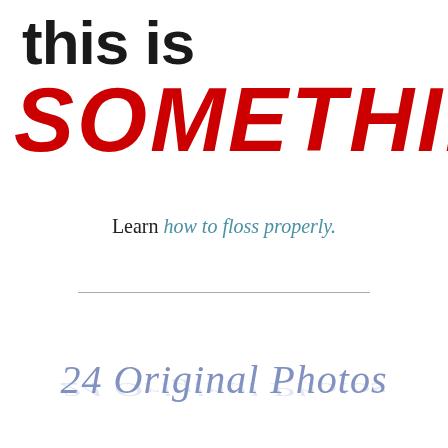this is SOMETHING
Learn how to floss properly.
24 Original Photos